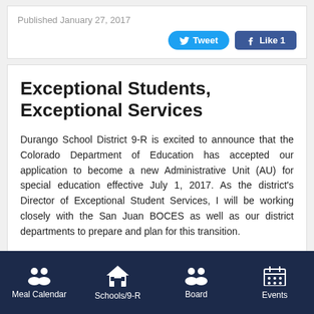Published January 27, 2017
[Figure (screenshot): Twitter Tweet button and Facebook Like 1 button]
Exceptional Students, Exceptional Services
Durango School District 9-R is excited to announce that the Colorado Department of Education has accepted our application to become a new Administrative Unit (AU) for special education effective July 1, 2017. As the district's Director of Exceptional Student Services, I will be working closely with the San Juan BOCES as well as our district departments to prepare and plan for this transition.
Meal Calendar | Schools/9-R | Board | Events